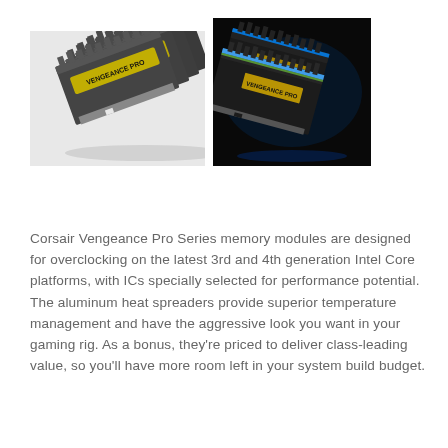[Figure (photo): Two product photos side by side: left shows Corsair Vengeance Pro RAM sticks (dark/gray heat spreaders with yellow label), right shows Corsair Vengeance Pro Series RAM sticks lit with blue/green lighting on dark background.]
Corsair Vengeance Pro Series memory modules are designed for overclocking on the latest 3rd and 4th generation Intel Core platforms, with ICs specially selected for performance potential. The aluminum heat spreaders provide superior temperature management and have the aggressive look you want in your gaming rig. As a bonus, they're priced to deliver class-leading value, so you'll have more room left in your system build budget.